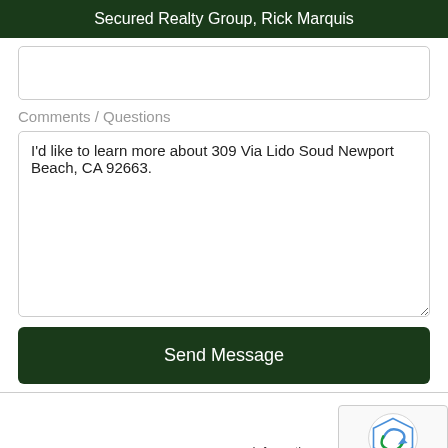Secured Realty Group, Rick Marquis
Comments / Questions
I'd like to learn more about 309 Via Lido Soud Newport Beach, CA 92663.
Send Message
Information courtesy of Coldwell Banker Realty is subject to verification and not guaranteed.